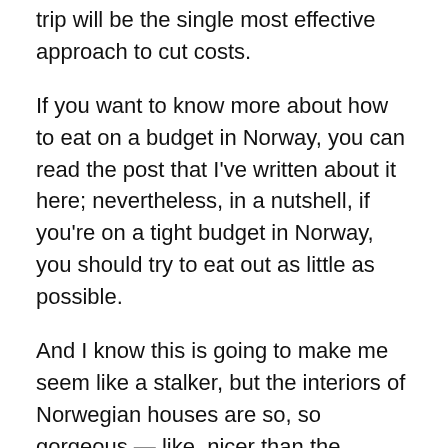trip will be the single most effective approach to cut costs.
If you want to know more about how to eat on a budget in Norway, you can read the post that I've written about it here; nevertheless, in a nutshell, if you're on a tight budget in Norway, you should try to eat out as little as possible.
And I know this is going to make me seem like a stalker, but the interiors of Norwegian houses are so, so gorgeous — like, nicer than the interiors of most hotels – and Vrbo provides the ideal justification for you to look inside of them. Check out the available Vrbo listings in Norway here.